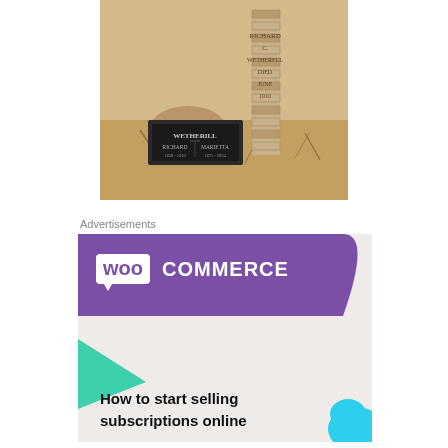[Figure (photo): Photograph of a gravestone/burial marker for Wetherill (Richard and Marietta) with a stone pillar in the background inscribed 'Richard C. Wetherill Died June [date] 1910', set in a dry desert landscape with scrub brush.]
Advertisements
[Figure (infographic): WooCommerce advertisement banner with purple header showing WooCommerce logo, green triangle decoration on the left, cyan shape on the right, and text 'How to start selling subscriptions online' on a light gray background.]